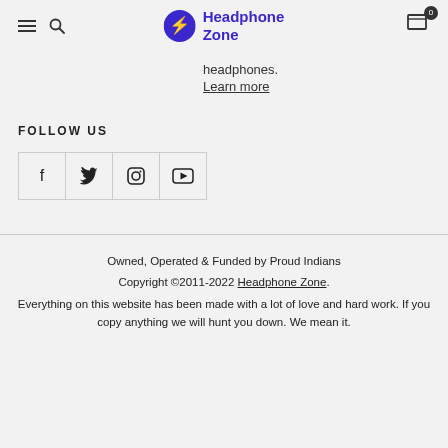Headphone Zone
headphones.
Learn more
FOLLOW US
[Figure (other): Social media icons: Facebook, Twitter, Instagram, YouTube in bordered boxes]
Owned, Operated & Funded by Proud Indians
Copyright ©2011-2022 Headphone Zone.
Everything on this website has been made with a lot of love and hard work. If you copy anything we will hunt you down. We mean it.